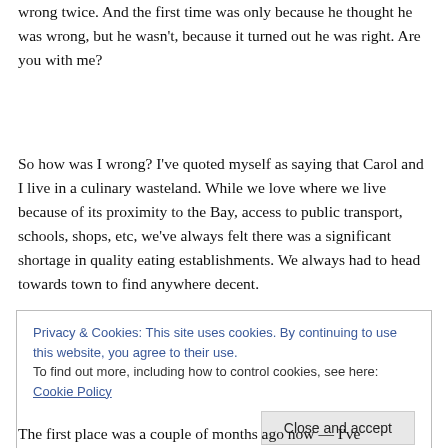wrong twice. And the first time was only because he thought he was wrong, but he wasn't, because it turned out he was right. Are you with me?
So how was I wrong? I've quoted myself as saying that Carol and I live in a culinary wasteland. While we love where we live because of its proximity to the Bay, access to public transport, schools, shops, etc, we've always felt there was a significant shortage in quality eating establishments. We always had to head towards town to find anywhere decent.
Privacy & Cookies: This site uses cookies. By continuing to use this website, you agree to their use.
To find out more, including how to control cookies, see here: Cookie Policy
[Close and accept]
The first place was a couple of months ago now — I've